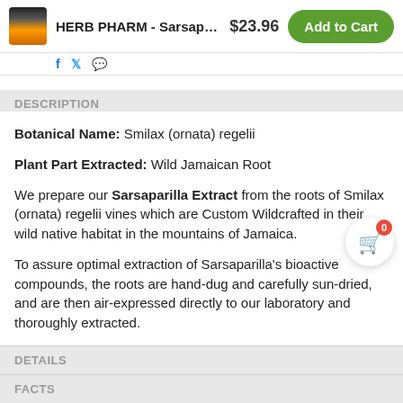HERB PHARM - Sarsaparil... $23.96 Add to Cart
DESCRIPTION
Botanical Name: Smilax (ornata) regelii
Plant Part Extracted: Wild Jamaican Root
We prepare our Sarsaparilla Extract from the roots of Smilax (ornata) regelii vines which are Custom Wildcrafted in their wild native habitat in the mountains of Jamaica.
To assure optimal extraction of Sarsaparilla's bioactive compounds, the roots are hand-dug and carefully sun-dried, and are then air-expressed directly to our laboratory and thoroughly extracted.
Our Sarsaparilla is never fumigated or irradiated.
DETAILS
FACTS